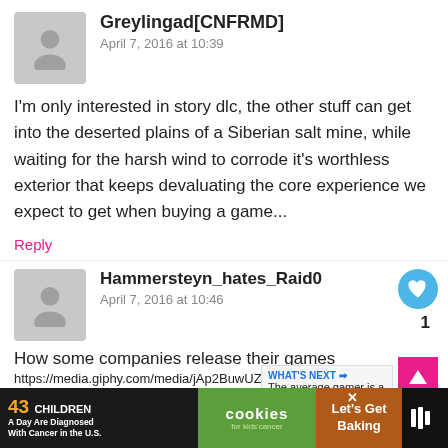Greylingad[CNFRMD]
April 7, 2016 at 10:39
I'm only interested in story dlc, the other stuff can get into the deserted plains of a Siberian salt mine, while waiting for the harsh wind to corrode it's worthless exterior that keeps devaluating the core experience we expect to get when buying a game...
Reply
Hammersteyn_hates_Raid0
April 7, 2016 at 10:46
How some companies release their games
https://media.giphy.com/media/jAp2BuwUZdbmo/giphy.
Reply